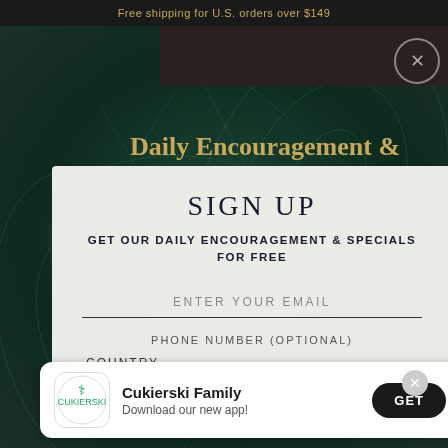Free shipping for U.S. orders over $149
SIGN UP
GET OUR DAILY ENCOURAGEMENT & SPECIALS FOR FREE
ENTER YOUR EMAIL
PHONE NUMBER (OPTIONAL)
COUNTRY  •  +XXX  |  XXXXXXXX
Cukierski Family
Download our new app!
GET